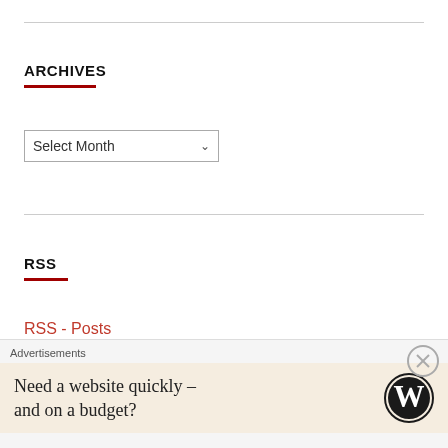ARCHIVES
Select Month
RSS
RSS - Posts
RSS - Comments
Advertisements
Need a website quickly – and on a budget?